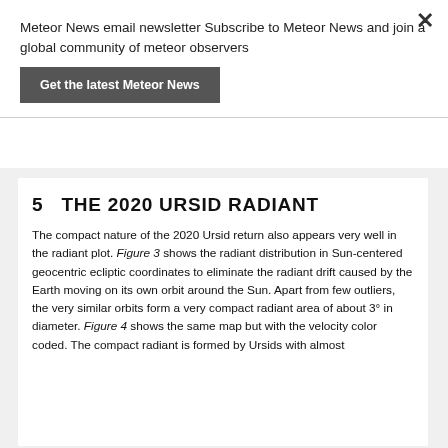Meteor News email newsletter Subscribe to Meteor News and join a global community of meteor observers
Get the latest Meteor News
5   THE 2020 URSID RADIANT
The compact nature of the 2020 Ursid return also appears very well in the radiant plot. Figure 3 shows the radiant distribution in Sun-centered geocentric ecliptic coordinates to eliminate the radiant drift caused by the Earth moving on its own orbit around the Sun. Apart from few outliers, the very similar orbits form a very compact radiant area of about 3° in diameter. Figure 4 shows the same map but with the velocity color coded. The compact radiant is formed by Ursids with almost